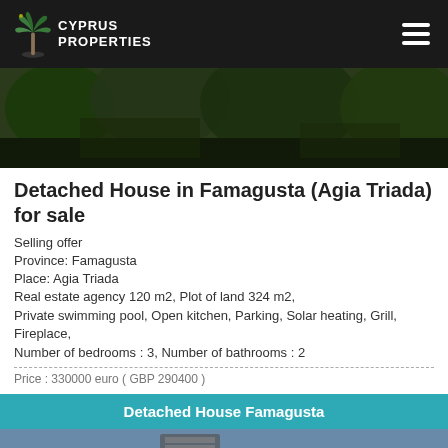Cyprus Properties
[Figure (photo): Exterior photo of a house surrounded by lush green trees and vegetation]
Detached House in Famagusta (Agia Triada) for sale
Selling offer
Province: Famagusta
Place: Agia Triada
Real estate agency 120 m2, Plot of land 324 m2,
Private swimming pool, Open kitchen, Parking, Solar heating, Grill, Fireplace,
Number of bedrooms : 3, Number of bathrooms : 2
Price : 330000 euro ( GBP 290400 )
Detached House Famagusta
[Figure (photo): Partial view of the property exterior at bottom of page]